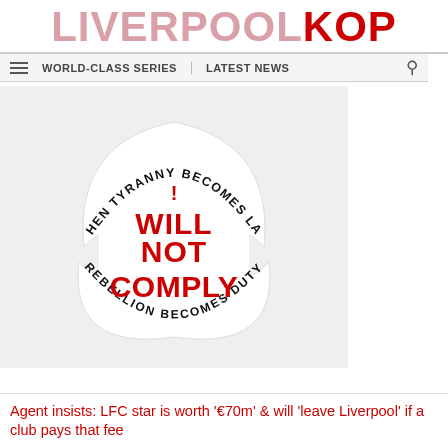LIVERPOOLKOP
WORLD-CLASS SERIES  LATEST NEWS
[Figure (illustration): Sticker-style graphic with curved text 'WHEN TYRANNY BECOMES LAW' at top and 'REBELLION BECOMES DUTY' at bottom, with bold red distressed text reading 'I WILL NOT COMPLY' in the center, all on a white background with a shaped border.]
Agent insists: LFC star is worth '€70m' & will 'leave Liverpool' if a club pays that fee